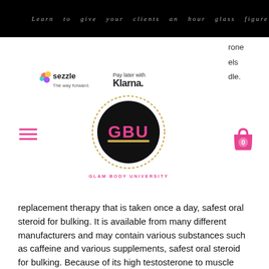Learn to give your clients an hour glass figure
[Figure (logo): Sezzle logo with tagline 'The way forward']
[Figure (logo): Pay later with Klarna.]
[Figure (logo): Glam Body University circular logo with GBU text and gold/pink design]
replacement therapy that is taken once a day, safest oral steroid for bulking. It is available from many different manufacturers and may contain various substances such as caffeine and various supplements, safest oral steroid for bulking. Because of its high testosterone to muscle ratio, some men find that it is more effective to start Trenbolone and Levemir at the same time, rather than going directly from your testosterone tablet into your Muscle-Up supplement at a later date.